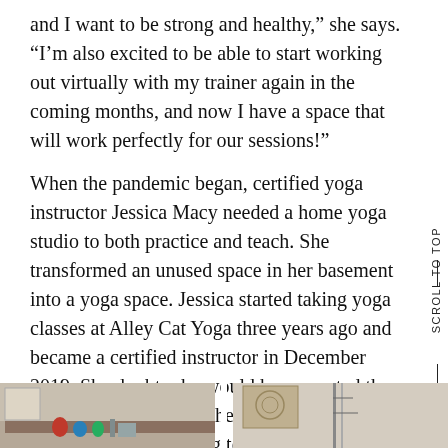and I want to be strong and healthy,” she says. “I’m also excited to be able to start working out virtually with my trainer again in the coming months, and now I have a space that will work perfectly for our sessions!”
When the pandemic began, certified yoga instructor Jessica Macy needed a home yoga studio to both practice and teach. She transformed an unused space in her basement into a yoga space. Jessica started taking yoga classes at Alley Cat Yoga three years ago and became a certified instructor in December 2019. She doubts she would have created the home studio if not for the pandemic because she would still be going to Alley Cat.
[Figure (photo): Left photo showing a shelf with various items including what appear to be bottles and objects in a home studio space]
[Figure (photo): Right photo showing a wall with a decorative tapestry and exercise equipment in a home yoga studio]